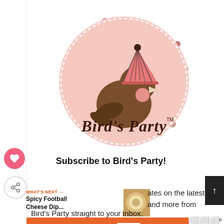[Figure (logo): Bird's Party logo: pink circle with dashed border, a brown bird wearing a striped party hat, decorative dots/confetti around, cursive text 'Bird's Party' with TM mark]
Subscribe to Bird's Party!
ates on the latest posts and more from Bird's Party straight to your inbox.
[Figure (infographic): Orange advertisement banner: 'You can help hungry kids. NO KID HUNGRY LEARN HOW' with close button]
WHAT'S NEXT → Spicy Football Cheese Dip...